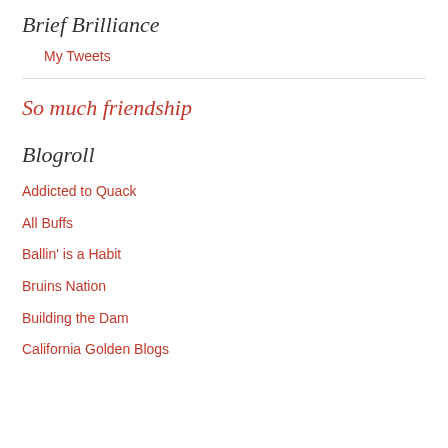Brief Brilliance
My Tweets
So much friendship
Blogroll
Addicted to Quack
All Buffs
Ballin' is a Habit
Bruins Nation
Building the Dam
California Golden Blogs